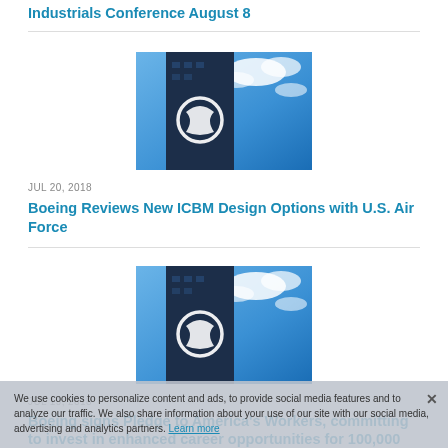Industrials Conference August 8
[Figure (photo): Boeing building tower with logo against blue cloudy sky]
JUL 20, 2018
Boeing Reviews New ICBM Design Options with U.S. Air Force
[Figure (photo): Boeing building tower with logo against blue cloudy sky]
JUL 19, 2018
Boeing signs Pledge to America's Workers, committing to invest in enhanced career opportunities for 100,000 U.S. employees
We use cookies to personalize content and ads, to provide social media features and to analyze our traffic. We also share information about your use of our site with our social media, advertising and analytics partners. Learn more